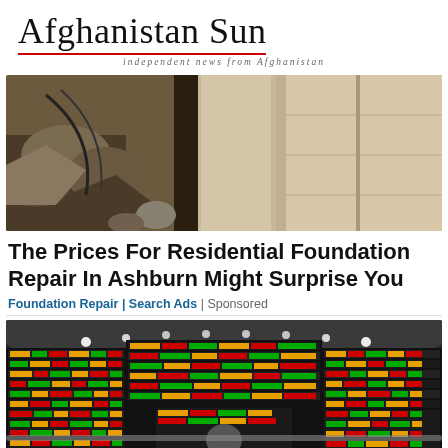Afghanistan Sun — independent news from Afghanistan
[Figure (photo): Construction/excavation site showing exposed foundation wall with dirt and debris]
The Prices For Residential Foundation Repair In Ashburn Might Surprise You
Foundation Repair | Search Ads | Sponsored
[Figure (photo): Stock exchange trading floor with large electronic ticker boards displaying colorful price data; a person seated in the foreground]